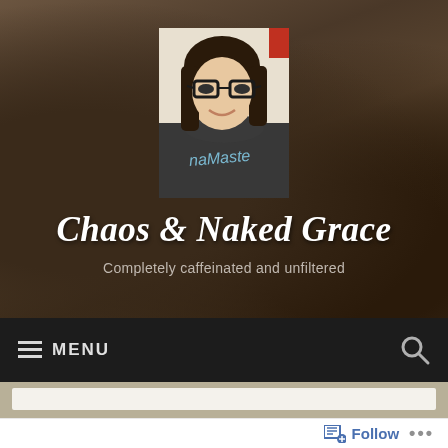[Figure (photo): Blog header with a blurred dark wood/texture background. A profile photo of a young woman with glasses and dark hair wearing a dark t-shirt with 'naMaste' text is centered at the top.]
Chaos & Naked Grace
Completely caffeinated and unfiltered
≡ MENU
Follow ...